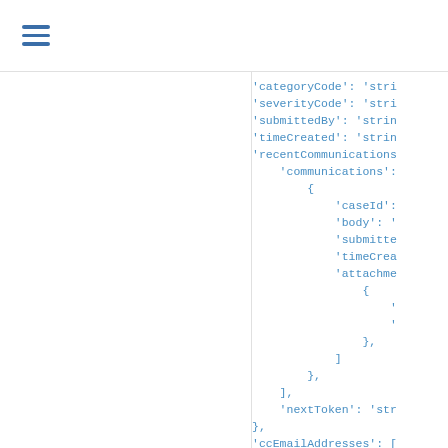☰
'categoryCode': 'stri
'severityCode': 'stri
'submittedBy': 'strin
'timeCreated': 'strin
'recentCommunications
    'communications':
        {
            'caseId':
            'body': '
            'submitte
            'timeCrea
            'attachme
                {
                    '
                    '
                },
            ]
        },
    ],
    'nextToken': 'str
},
'ccEmailAddresses': [